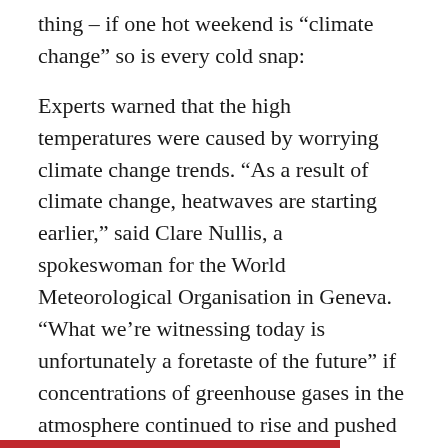thing – if one hot weekend is “climate change” so is every cold snap:
Experts warned that the high temperatures were caused by worrying climate change trends. “As a result of climate change, heatwaves are starting earlier,” said Clare Nullis, a spokeswoman for the World Meteorological Organisation in Geneva. “What we’re witnessing today is unfortunately a foretaste of the future” if concentrations of greenhouse gases in the atmosphere continued to rise and pushed global warming towards 2C from pre-industrial levels, she added.